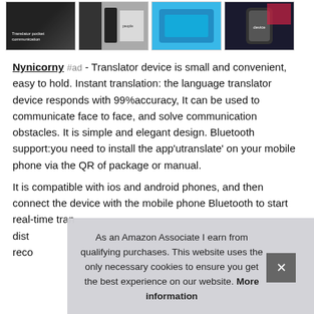[Figure (photo): Row of four product thumbnail images of a translator device]
Nynicorny #ad - Translator device is small and convenient, easy to hold. Instant translation: the language translator device responds with 99%accuracy, It can be used to communicate face to face, and solve communication obstacles. It is simple and elegant design. Bluetooth support:you need to install the app'utranslate' on your mobile phone via the QR of package or manual.
It is compatible with ios and android phones, and then connect the device with the mobile phone Bluetooth to start real-time tran... dist... reco...
As an Amazon Associate I earn from qualifying purchases. This website uses the only necessary cookies to ensure you get the best experience on our website. More information